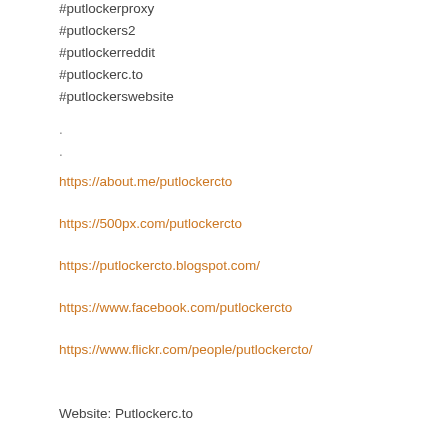#putlockerproxy
#putlockers2
#putlockerreddit
#putlockerc.to
#putlockerswebsite
.
.
https://about.me/putlockercto
https://500px.com/putlockercto
https://putlockercto.blogspot.com/
https://www.facebook.com/putlockercto
https://www.flickr.com/people/putlockercto/
Website: Putlockerc.to